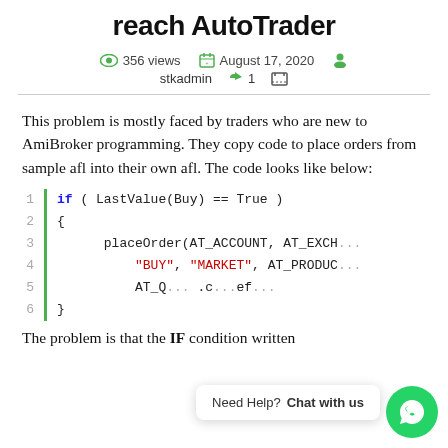reach AutoTrader
356 views   August 17, 2020   stkadmin   1
This problem is mostly faced by traders who are new to AmiBroker programming. They copy code to place orders from sample afl into their own afl. The code looks like below:
[Figure (screenshot): Code block showing AFL code: if ( LastValue(Buy) == True ) { placeOrder(AT_ACCOUNT, AT_EXCH... "BUY", "MARKET", AT_PRODUC... AT_Q ... .c...ef... }]
The problem is that the IF condition written